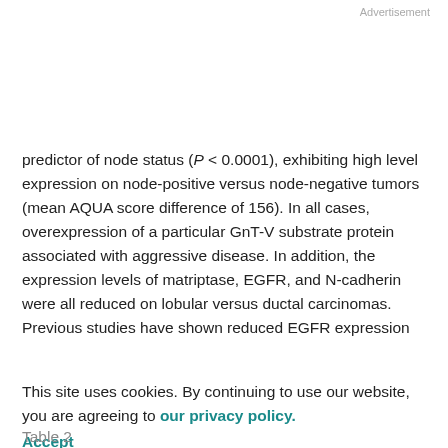Advertisement
predictor of node status (P < 0.0001), exhibiting high level expression on node-positive versus node-negative tumors (mean AQUA score difference of 156). In all cases, overexpression of a particular GnT-V substrate protein associated with aggressive disease. In addition, the expression levels of matriptase, EGFR, and N-cadherin were all reduced on lobular versus ductal carcinomas. Previous studies have shown reduced EGFR expression
on lobular carcinomas (33) but we believe that this is the first report of reduced expression of matriptase and N-cadherin.
This site uses cookies. By continuing to use our website, you are agreeing to our privacy policy. Accept
Table 2